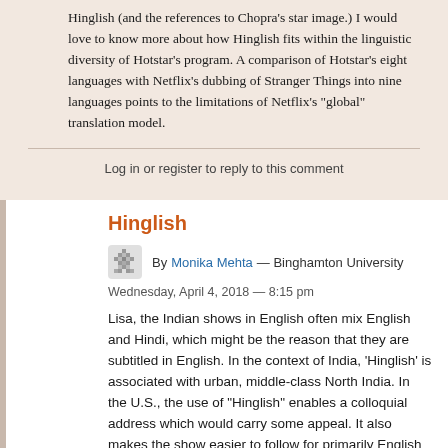Hinglish (and the references to Chopra's star image.) I would love to know more about how Hinglish fits within the linguistic diversity of Hotstar's program. A comparison of Hotstar's eight languages with Netflix's dubbing of Stranger Things into nine languages points to the limitations of Netflix's "global" translation model.
Log in or register to reply to this comment
Hinglish
By Monika Mehta — Binghamton University
Wednesday, April 4, 2018 — 8:15 pm
Lisa, the Indian shows in English often mix English and Hindi, which might be the reason that they are subtitled in English. In the context of India, 'Hinglish' is associated with urban, middle-class North India. In the U.S., the use of "Hinglish" enables a colloquial address which would carry some appeal. It also makes the show easier to follow for primarily English speakers; they wouldn't have to read subtitles constantly. You are absolutely Hotstar's eight languages does reveal the limits of Netflix's translation model, which imagines one national language per nation.